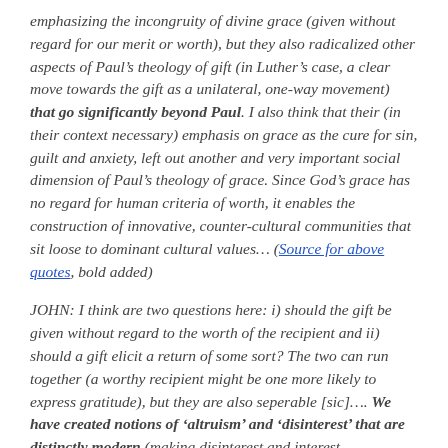emphasizing the incongruity of divine grace (given without regard for our merit or worth), but they also radicalized other aspects of Paul's theology of gift (in Luther's case, a clear move towards the gift as a unilateral, one-way movement) that go significantly beyond Paul. I also think that their (in their context necessary) emphasis on grace as the cure for sin, guilt and anxiety, left out another and very important social dimension of Paul's theology of grace. Since God's grace has no regard for human criteria of worth, it enables the construction of innovative, counter-cultural communities that sit loose to dominant cultural values... (Source for above quotes, bold added)
JOHN: I think are two questions here: i) should the gift be given without regard to the worth of the recipient and ii) should a gift elicit a return of some sort? The two can run together (a worthy recipient might be one more likely to express gratitude), but they are also seperable [sic].... We have created notions of 'altruism' and 'disinterest' that are distinctly modern (making disinterest and interest